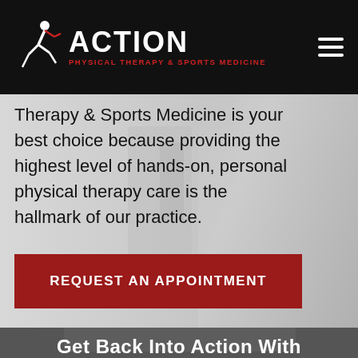ACTION PHYSICAL THERAPY & SPORTS MEDICINE
Therapy & Sports Medicine is your best choice because providing the highest level of hands-on, personal physical therapy care is the hallmark of our practice.
[Figure (photo): Background photo of physical therapy clinic setting, muted gray tones, person in white coat visible on right side]
REQUEST AN APPOINTMENT
Get Back Into Action With